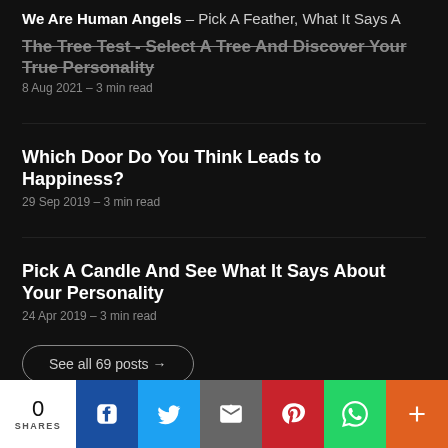We Are Human Angels – Pick A Feather, What It Says A
The Tree Test - Select A Tree And Discover Your True Personality
8 Aug 2021 – 3 min read
Which Door Do You Think Leads to Happiness?
29 Sep 2019 – 3 min read
Pick A Candle And See What It Says About Your Personality
24 Apr 2019 – 3 min read
See all 69 posts →
0 SHARES | Facebook | Twitter | Email | Pinterest | WhatsApp | More